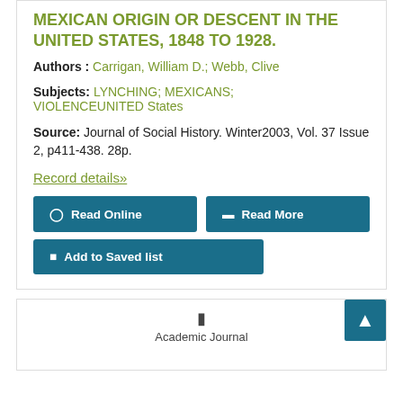MEXICAN ORIGIN OR DESCENT IN THE UNITED STATES, 1848 TO 1928.
Authors : Carrigan, William D.; Webb, Clive
Subjects: LYNCHING; MEXICANS; VIOLENCEUNITED States
Source: Journal of Social History. Winter2003, Vol. 37 Issue 2, p411-438. 28p.
Record details»
Read Online
Read More
Add to Saved list
Academic Journal